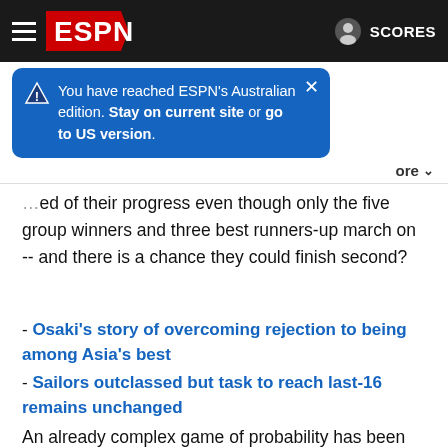ESPN | SCORES
You have reached ESPN's Australian edition. Stay on current site or go to US version.
...ed of their progress even though only the five group winners and three best runners-up march on -- and there is a chance they could finish second?
- Osaki's story of overcoming rejection to being among Asia's best
- Sailors outclassed but task to reach last-16 remains unchanged
- JDT see off Guangzhou to move level with Ulsan at summit
An already complex game of probability has been further complicated by Group J only featuring three teams due to the withdrawal of Shanghai Port, which means the remaining of th...